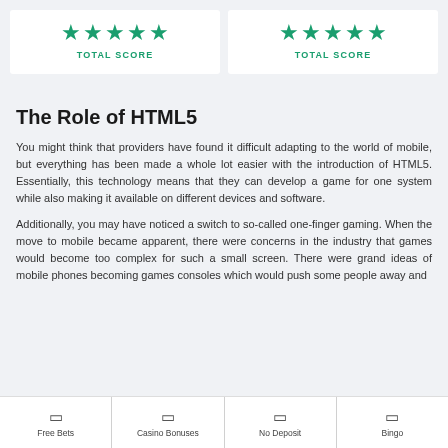[Figure (other): Two white cards side by side, each showing 5 green stars and the text TOTAL SCORE below them]
The Role of HTML5
You might think that providers have found it difficult adapting to the world of mobile, but everything has been made a whole lot easier with the introduction of HTML5. Essentially, this technology means that they can develop a game for one system while also making it available on different devices and software.
Additionally, you may have noticed a switch to so-called one-finger gaming. When the move to mobile became apparent, there were concerns in the industry that games would become too complex for such a small screen. There were grand ideas of mobile phones becoming games consoles which would push some people away and
Free Bets | Casino Bonuses | No Deposit | Bingo